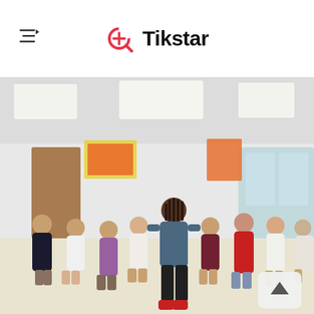Tikstar
[Figure (photo): A group of elementary school children standing in a gymnasium or cafeteria-style classroom with white floors and ceiling lights. A tall adult with dreadlocks wearing a blue t-shirt and black pants with red shoes stands in the center surrounded by approximately 8-9 children of various ages wearing colorful clothing. The room has artwork on the walls and large windows on the right side.]